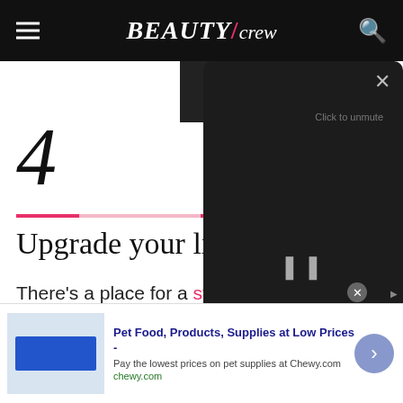BEAUTY/crew
4
Upgrade your lip colour
There's a place for a strong m... isn't when you're playing bea... hot Aussie sun. With a hint of c...
[Figure (screenshot): Dark video popup panel with close X button, 'Click to unmute' text, and pause button]
Pet Food, Products, Supplies at Low Prices - Pay the lowest prices on pet supplies at Chewy.com chewy.com